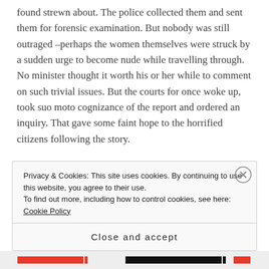found strewn about. The police collected them and sent them for forensic examination. But nobody was still outraged –perhaps the women themselves were struck by a sudden urge to become nude while travelling through. No minister thought it worth his or her while to comment on such trivial issues. But the courts for once woke up, took suo moto cognizance of the report and ordered an inquiry. That gave some faint hope to the horrified citizens following the story.
Privacy & Cookies: This site uses cookies. By continuing to use this website, you agree to their use. To find out more, including how to control cookies, see here: Cookie Policy
Close and accept